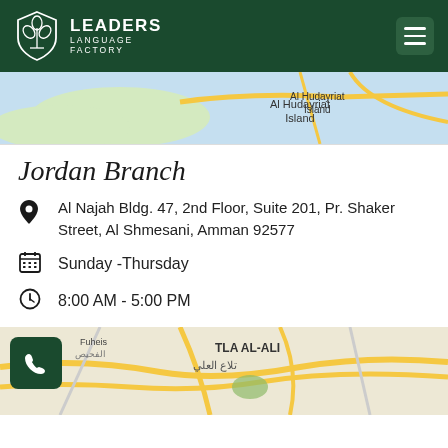[Figure (logo): Leaders Language Factory logo with shield emblem containing leaf design, white on dark green background, with hamburger menu icon]
[Figure (map): Partial map showing Al Hudayriat Island and AL RAWDAH area]
Jordan Branch
Al Najah Bldg. 47, 2nd Floor, Suite 201, Pr. Shaker Street, Al Shmesani, Amman 92577
Sunday -Thursday
8:00 AM - 5:00 PM
[Figure (map): Map showing TLA AL-ALI / تلاع العلي area with road network, with phone button overlay]